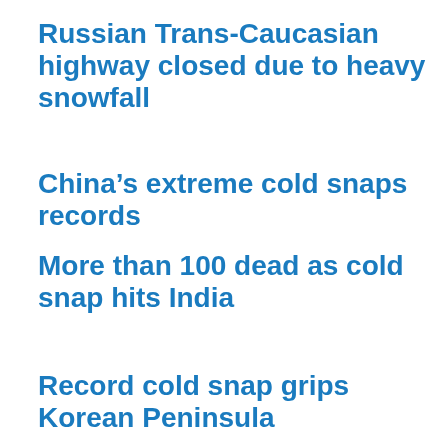Russian Trans-Caucasian highway closed due to heavy snowfall
China’s extreme cold snaps records
More than 100 dead as cold snap hits India
Record cold snap grips Korean Peninsula